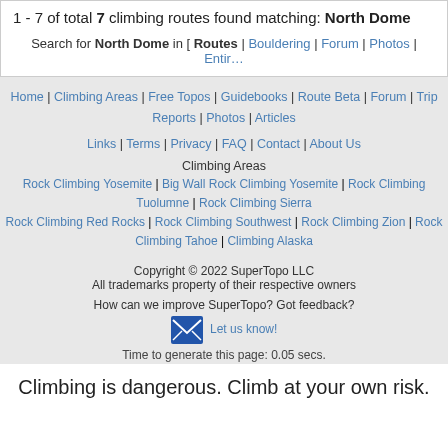1 - 7 of total 7 climbing routes found matching: North Dome
Search for North Dome in [ Routes | Bouldering | Forum | Photos | Entire...
Home | Climbing Areas | Free Topos | Guidebooks | Route Beta | Forum | Trip Reports | Photos | Articles | Links | Terms | Privacy | FAQ | Contact | About Us
Climbing Areas
Rock Climbing Yosemite | Big Wall Rock Climbing Yosemite | Rock Climbing Tuolumne | Rock Climbing Sierra | Rock Climbing Red Rocks | Rock Climbing Southwest | Rock Climbing Zion | Rock Climbing Tahoe | Climbing Alaska
Copyright © 2022 SuperTopo LLC
All trademarks property of their respective owners
How can we improve SuperTopo? Got feedback? Let us know!
Time to generate this page: 0.05 secs.
Climbing is dangerous. Climb at your own risk.